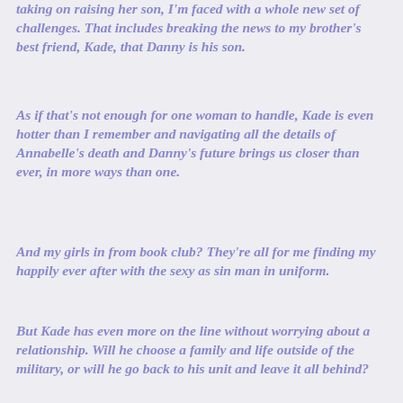taking on raising her son, I'm faced with a whole new set of challenges. That includes breaking the news to my brother's best friend, Kade, that Danny is his son.
As if that's not enough for one woman to handle, Kade is even hotter than I remember and navigating all the details of Annabelle's death and Danny's future brings us closer than ever, in more ways than one.
And my girls in from book club? They're all for me finding my happily ever after with the sexy as sin man in uniform.
But Kade has even more on the line without worrying about a relationship. Will he choose a family and life outside of the military, or will he go back to his unit and leave it all behind?